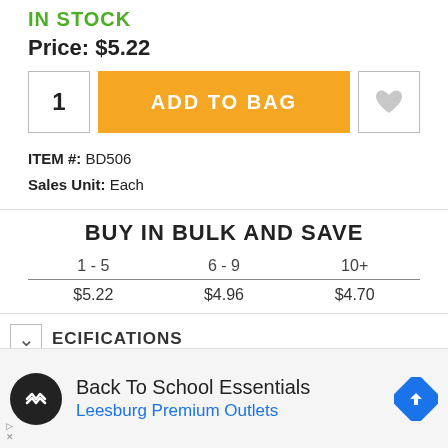IN STOCK
Price: $5.22
1
ADD TO BAG
ITEM #: BD506
Sales Unit: Each
BUY IN BULK AND SAVE
| 1 - 5 | 6 - 9 | 10+ |
| --- | --- | --- |
| $5.22 | $4.96 | $4.70 |
ECIFICATIONS
Back To School Essentials
Leesburg Premium Outlets